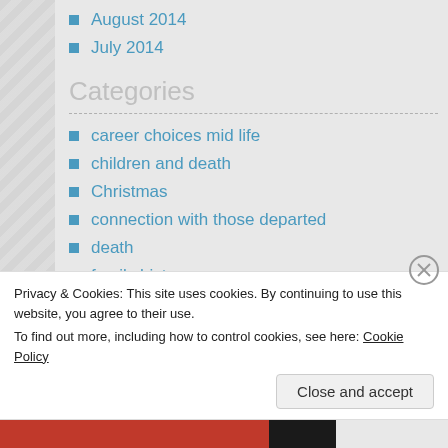August 2014
July 2014
Categories
career choices mid life
children and death
Christmas
connection with those departed
death
family history
Graveyards
kids getting sick
kids immune system
Privacy & Cookies: This site uses cookies. By continuing to use this website, you agree to their use.
To find out more, including how to control cookies, see here: Cookie Policy
Close and accept